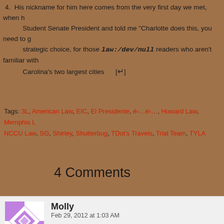4. His nickname for him here comes from the very first day we met, when h... Student Senate President and told me "Charlotte does this, you need to g... strategic choice, for those law:/dev/null readers who aren't familiar with ... Carolina's two largest cities [↵]
Tags: 3L, American Law, EIC, El Presidente, é›…é›…, Howard Law, Memphis L... NCCU Law, SG, Shirley, Shutterbug, TDot's Travels, Trial Team, TYLA
4 Comments
Molly
Feb 29, 2012 at 1:03 AM
Hostility btwn the QC and Raleigh? C'mon, we've got y'all over a... threatened! ;P

Good to finally read what happened that Sunday in Memphis sinc... lawyer) Judge was unfamiliar with "opening the door"?! That's preposto... pissed at the judge than at your demeanor. When you were teamed w... with the expert? Betcha didn't haveta have them read from the book fo...

Glad you had a blast with the company in DC, despite the plague. Tha...